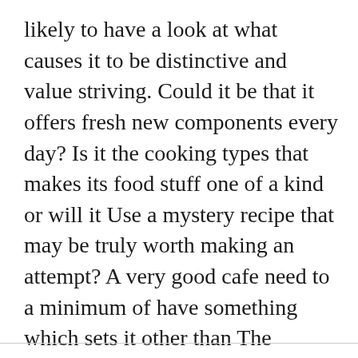likely to have a look at what causes it to be distinctive and value striving. Could it be that it offers fresh new components every day? Is it the cooking types that makes its food stuff one of a kind or will it Use a mystery recipe that may be truly worth making an attempt? A very good cafe need to a minimum of have something which sets it other than The remainder. Figure out what Specific point you stand to appreciate through the restaurant and Be sure that in truth you make time to get pleasure from it to possess a memorable time.